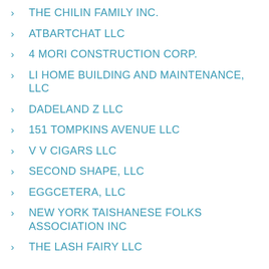THE CHILIN FAMILY INC.
ATBARTCHAT LLC
4 MORI CONSTRUCTION CORP.
LI HOME BUILDING AND MAINTENANCE, LLC
DADELAND Z LLC
151 TOMPKINS AVENUE LLC
V V CIGARS LLC
SECOND SHAPE, LLC
EGGCETERA, LLC
NEW YORK TAISHANESE FOLKS ASSOCIATION INC
THE LASH FAIRY LLC